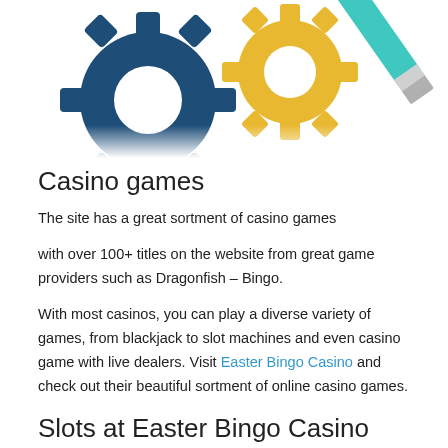[Figure (illustration): Illustration of two gear cogs (dark blue and yellow) with a teal/cyan pencil or tool crossing over them, on a white background. The image is cropped showing upper portion.]
Casino games
The site has a great sortment of casino games
with over 100+ titles on the website from great game providers such as Dragonfish – Bingo.
With most casinos, you can play a diverse variety of games, from blackjack to slot machines and even casino game with live dealers. Visit Easter Bingo Casino and check out their beautiful sortment of online casino games.
Slots at Easter Bingo Casino